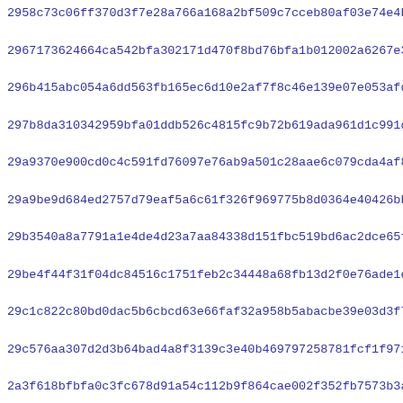2958c73c06ff370d3f7e28a766a168a2bf509c7cceb80af03e74e4bbb26e1
2967173624664ca542bfa302171d470f8bd76bfa1b012002a6267e34b080b
296b415abc054a6dd563fb165ec6d10e2af7f8c46e139e07e053afd549d46
297b8da310342959bfa01ddb526c4815fc9b72b619ada961d1c991dba03eb
29a9370e900cd0c4c591fd76097e76ab9a501c28aae6c079cda4af88f873e
29a9be9d684ed2757d79eaf5a6c61f326f969775b8d0364e40426bb591ce9
29b3540a8a7791a1e4de4d23a7aa84338d151fbc519bd6ac2dce65f483f1e
29be4f44f31f04dc84516c1751feb2c34448a68fb13d2f0e76ade1e75d081
29c1c822c80bd0dac5b6cbcd63e66faf32a958b5abacbe39e03d3f760aa65
29c576aa307d2d3b64bad4a8f3139c3e40b469797258781fcf1f971e4d145
2a3f618bfbfa0c3fc678d91a54c112b9f864cae002f352fb7573b3a9716c0